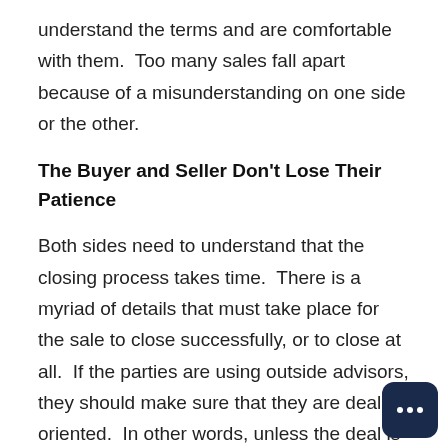understand the terms and are comfortable with them.  Too many sales fall apart because of a misunderstanding on one side or the other.
The Buyer and Seller Don't Lose Their Patience
Both sides need to understand that the closing process takes time.  There is a myriad of details that must take place for the sale to close successfully, or to close at all.  If the parties are using outside advisors, they should make sure that they are deal-oriented.  In other words, unless the deal is illegal or unethical, the parties should insist that the deal works.  The buyer ar seller should understand that the outside